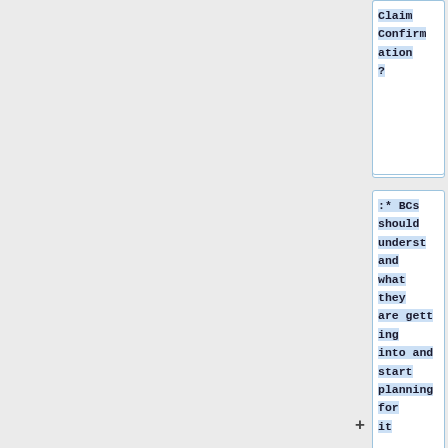Claim Confirmation?
:* BCs should understand what they are getting into and start planning for it
:* If the profile will depend on a large test/retest being completed and it seems